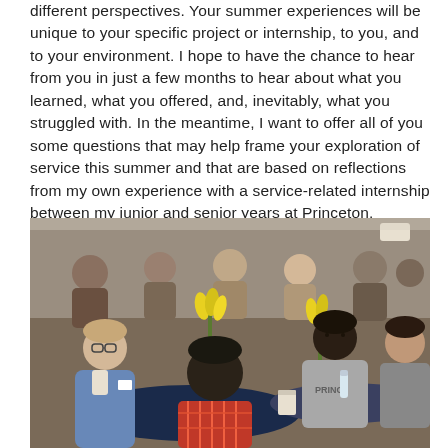different perspectives. Your summer experiences will be unique to your specific project or internship, to you, and to your environment. I hope to have the chance to hear from you in just a few months to hear about what you learned, what you offered, and, inevitably, what you struggled with. In the meantime, I want to offer all of you some questions that may help frame your exploration of service this summer and that are based on reflections from my own experience with a service-related internship between my junior and senior years at Princeton.
[Figure (photo): A group of college students seated at tables at what appears to be a campus event or networking dinner. In the foreground, a young man in a plaid shirt sits with his back to the camera, next to a young woman with glasses in a denim jacket. Across the table is a young woman in a gray Princeton sweatshirt. Yellow tulips are visible as table decorations. The room is full of students in the background.]